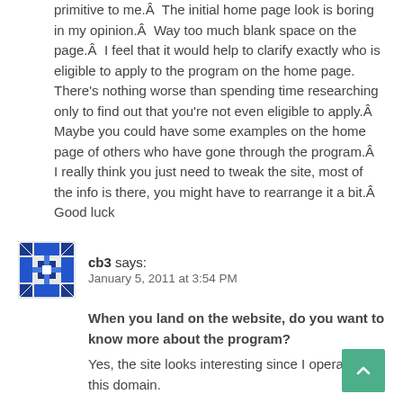The concept is good, the site itself just seems primitive to me.Â  The initial home page look is boring in my opinion.Â  Way too much blank space on the page.Â  I feel that it would help to clarify exactly who is eligible to apply to the program on the home page. There's nothing worse than spending time researching only to find out that you're not even eligible to apply.Â  Maybe you could have some examples on the home page of others who have gone through the program.Â  I really think you just need to tweak the site, most of the info is there, you might have to rearrange it a bit.Â  Good luck
cb3 says: January 5, 2011 at 3:54 PM
When you land on the website, do you want to know more about the program? Yes, the site looks interesting since I operate in this domain. Would you apply to the program? If not, why